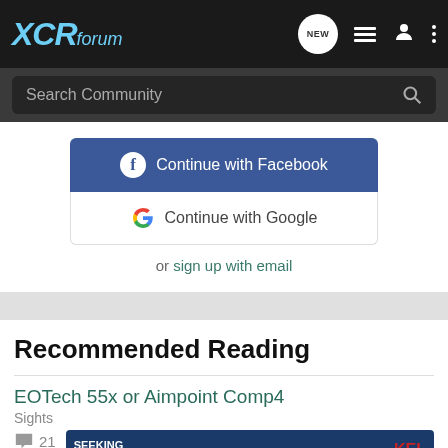XCRforum
Search Community
[Figure (screenshot): Continue with Facebook button (blue)]
[Figure (screenshot): Continue with Google button (white with Google G logo)]
or sign up with email
Recommended Reading
EOTech 55x or Aimpoint Comp4
Sights
21
[Figure (photo): Advertisement: Kel-Tec CP33 pistol - Seeking Long Range Relationship]